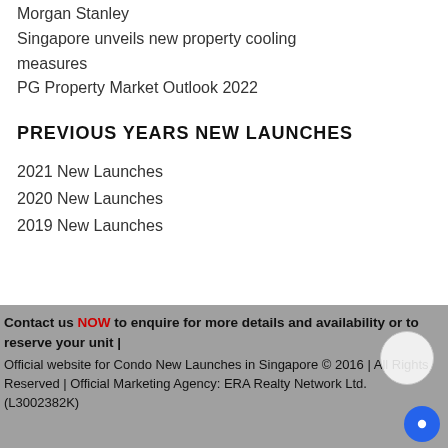Morgan Stanley
Singapore unveils new property cooling measures
PG Property Market Outlook 2022
PREVIOUS YEARS NEW LAUNCHES
2021 New Launches
2020 New Launches
2019 New Launches
Contact us NOW to enquire for more details and availability or to reserve your unit | Official website for Condo New Launches in Singapore © 2016 | All Rights Reserved | Official Marketing Agency: ERA Realty Network Ltd. (L3002382K)